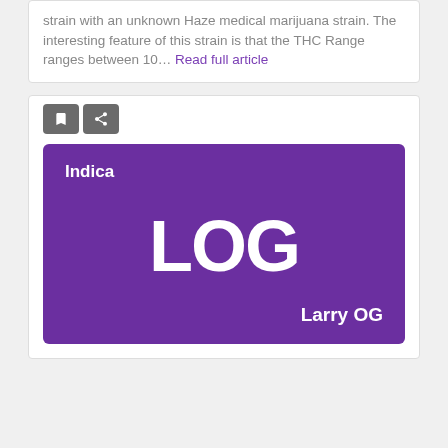strain with an unknown Haze medical marijuana strain. The interesting feature of this strain is that the THC Range ranges between 10… Read full article
[Figure (illustration): Purple strain card showing 'Indica' label at top left, large 'LOG' abbreviation in white on purple background, and 'Larry OG' name at bottom right]
Larry OG